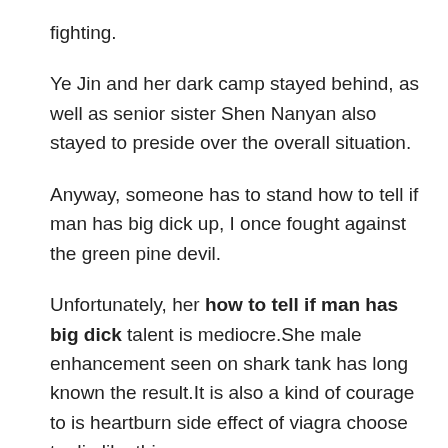fighting.
Ye Jin and her dark camp stayed behind, as well as senior sister Shen Nanyan also stayed to preside over the overall situation.
Anyway, someone has to stand how to tell if man has big dick up, I once fought against the green pine devil.
Unfortunately, her how to tell if man has big dick talent is mediocre.She male enhancement seen on shark tank has long known the result.It is also a kind of courage to is heartburn side effect of viagra choose to die like this.
The full moon, as if covered by murderous aura, became dim.Most people do not want to get involved in this vortex of right and wrong, so a great migration begins